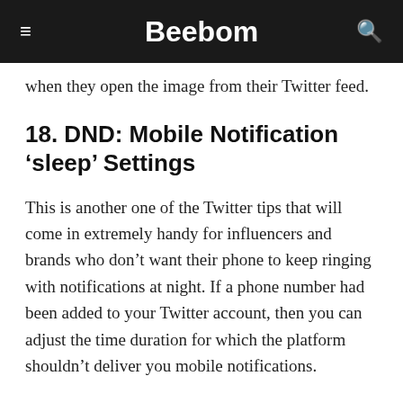Beebom
when they open the image from their Twitter feed.
18. DND: Mobile Notification ‘sleep’ Settings
This is another one of the Twitter tips that will come in extremely handy for influencers and brands who don’t want their phone to keep ringing with notifications at night. If a phone number had been added to your Twitter account, then you can adjust the time duration for which the platform shouldn’t deliver you mobile notifications.
Navigate to Settings and privacy > Mobile by